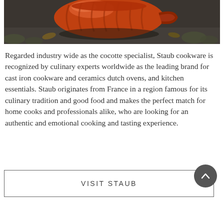[Figure (photo): Close-up photo of a shiny orange/red Staub cocotte (cast iron pot) with handle, surrounded by leaves and stones on a dark surface.]
Regarded industry wide as the cocotte specialist, Staub cookware is recognized by culinary experts worldwide as the leading brand for cast iron cookware and ceramics dutch ovens, and kitchen essentials. Staub originates from France in a region famous for its culinary tradition and good food and makes the perfect match for home cooks and professionals alike, who are looking for an authentic and emotional cooking and tasting experience.
VISIT STAUB